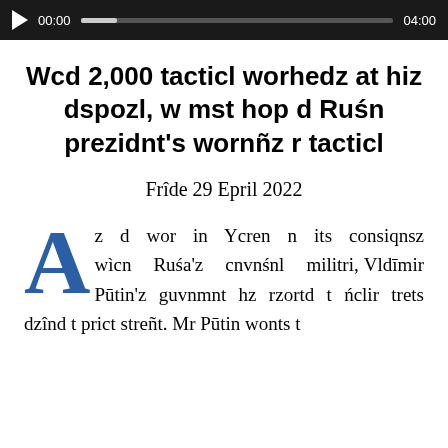[Figure (other): Audio player with play button, timestamp 00:00 and 04:00, progress bar on dark background]
Wcd 2,000 tacticl worhedz at hiz dspozl, w mst hop d Ruśn prezidnt's wornñz r tacticl
Frîde 29 Epril 2022
Az d wor in Ycren n its consiqnsz wìcn Ruśa'z cnvnśnl militri, Vldīmir Pūtin'z guvnmnt hz rzortd t ńclir trets dzînd t prict streñt. Mr Pūtin wonts t